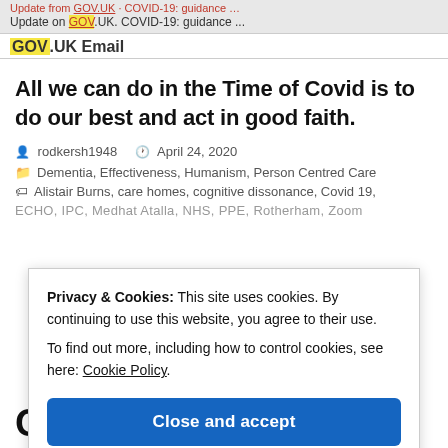Update on GOV.UK. COVID-19: guidance ...
GOV.UK Email
All we can do in the Time of Covid is to do our best and act in good faith.
rodkersh1948   April 24, 2020
Dementia, Effectiveness, Humanism, Person Centred Care
Alistair Burns, care homes, cognitive dissonance, Covid 19,
ECHO, IPC, Medhat Atalla, NHS, PPE, Rotherham, Zoom
Privacy & Cookies: This site uses cookies. By continuing to use this website, you agree to their use.
To find out more, including how to control cookies, see here: Cookie Policy
Close and accept
Covid...